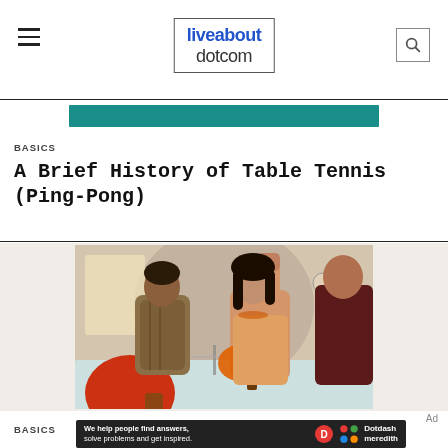liveabout dotcom
[Figure (illustration): Teal/dark banner bar, partial advertisement or decorative element]
BASICS
A Brief History of Table Tennis (Ping-Pong)
[Figure (photo): Two women playing table tennis indoors, one leaning over the table smiling, the other raising a fist in celebration. Brick wall background, ping pong paddles visible.]
BASICS
[Figure (infographic): Dotdash Meredith advertisement banner: 'We help people find answers, solve problems and get inspired.']